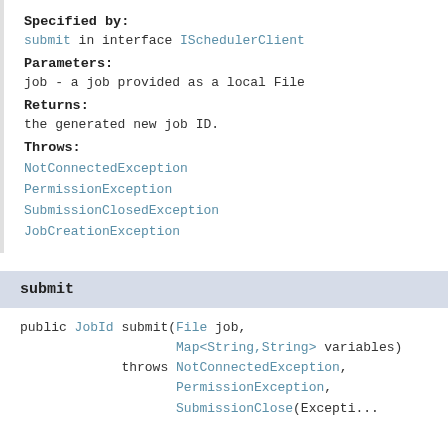Specified by:
submit in interface ISchedulerClient
Parameters:
job - a job provided as a local File
Returns:
the generated new job ID.
Throws:
NotConnectedException
PermissionException
SubmissionClosedException
JobCreationException
submit
public JobId submit(File job,
                    Map<String,String> variables)
             throws NotConnectedException,
                    PermissionException,
                    SubmissionClosedExcepti...